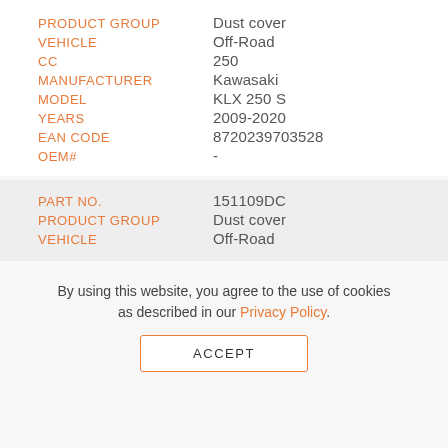| PRODUCT GROUP | Dust cover |
| VEHICLE | Off-Road |
| CC | 250 |
| MANUFACTURER | Kawasaki |
| MODEL | KLX 250 S |
| YEARS | 2009-2020 |
| EAN CODE | 8720239703528 |
| OEM# | - |
| PART NO. | 151109DC |
| PRODUCT GROUP | Dust cover |
| VEHICLE | Off-Road |
By using this website, you agree to the use of cookies as described in our Privacy Policy.
ACCEPT